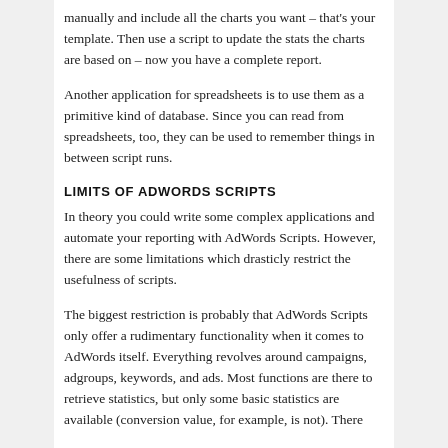manually and include all the charts you want – that's your template. Then use a script to update the stats the charts are based on – now you have a complete report.
Another application for spreadsheets is to use them as a primitive kind of database. Since you can read from spreadsheets, too, they can be used to remember things in between script runs.
LIMITS OF ADWORDS SCRIPTS
In theory you could write some complex applications and automate your reporting with AdWords Scripts. However, there are some limitations which drasticly restrict the usefulness of scripts.
The biggest restriction is probably that AdWords Scripts only offer a rudimentary functionality when it comes to AdWords itself. Everything revolves around campaigns, adgroups, keywords, and ads. Most functions are there to retrieve statistics, but only some basic statistics are available (conversion value, for example, is not). There